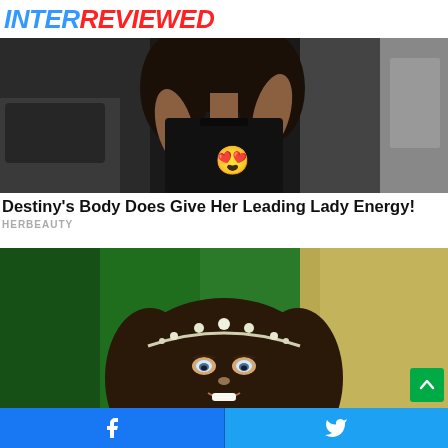INTERREVIEWED
[Figure (photo): Woman in black tank top with curly hair, standing near a car, with a heart-eyes emoji overlaid on the image]
Destiny’s Body Does Give Her Leading Lady Energy!
HERBEAUTY
[Figure (photo): Young girl with dark wavy hair wearing a crystal tiara, smiling, with green and gold blurred background]
Facebook share button | Twitter share button